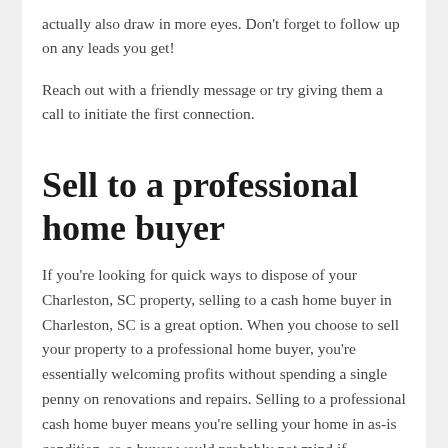actually also draw in more eyes. Don't forget to follow up on any leads you get!
Reach out with a friendly message or try giving them a call to initiate the first connection.
Sell to a professional home buyer
If you're looking for quick ways to dispose of your Charleston, SC property, selling to a cash home buyer in Charleston, SC is a great option. When you choose to sell your property to a professional home buyer, you're essentially welcoming profits without spending a single penny on renovations and repairs. Selling to a professional cash home buyer means you're selling your home in as-is condition, so a buyer would probably not mind if